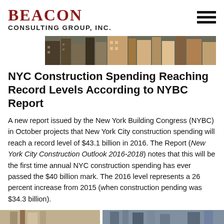BEACON CONSULTING GROUP, INC.
[Figure (photo): Banner photo of NYC construction / buildings skyline]
NYC Construction Spending Reaching Record Levels According to NYBC Report
A new report issued by the New York Building Congress (NYBC) in October projects that New York City construction spending will reach a record level of $43.1 billion in 2016. The Report (New York City Construction Outlook 2016-2018) notes that this will be the first time annual NYC construction spending has ever passed the $40 billion mark. The 2016 level represents a 26 percent increase from 2015 (when construction pending was $34.3 billion).
FULL ARTICLE ›
[Figure (photo): Partial bottom banner image of construction]